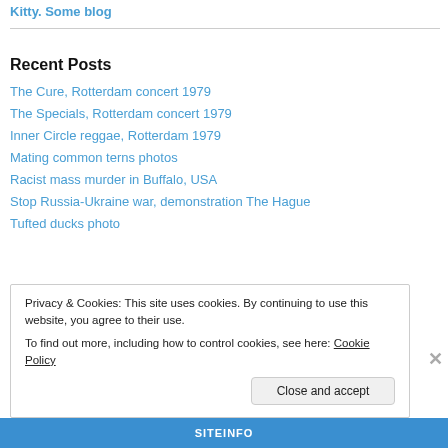Kitty. Some blog
Recent Posts
The Cure, Rotterdam concert 1979
The Specials, Rotterdam concert 1979
Inner Circle reggae, Rotterdam 1979
Mating common terns photos
Racist mass murder in Buffalo, USA
Stop Russia-Ukraine war, demonstration The Hague
Tufted ducks photo
Privacy & Cookies: This site uses cookies. By continuing to use this website, you agree to their use. To find out more, including how to control cookies, see here: Cookie Policy
Close and accept